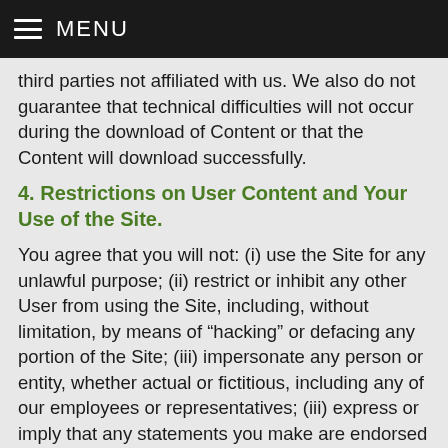MENU
third parties not affiliated with us. We also do not guarantee that technical difficulties will not occur during the download of Content or that the Content will download successfully.
4. Restrictions on User Content and Your Use of the Site.
You agree that you will not: (i) use the Site for any unlawful purpose; (ii) restrict or inhibit any other User from using the Site, including, without limitation, by means of “hacking” or defacing any portion of the Site; (iii) impersonate any person or entity, whether actual or fictitious, including any of our employees or representatives; (iii) express or imply that any statements you make are endorsed by us, without our prior written consent; (iv) modify, adapt, sub-license, translate, sell, reverse engineer, decompile or disassemble any portion of the Site or